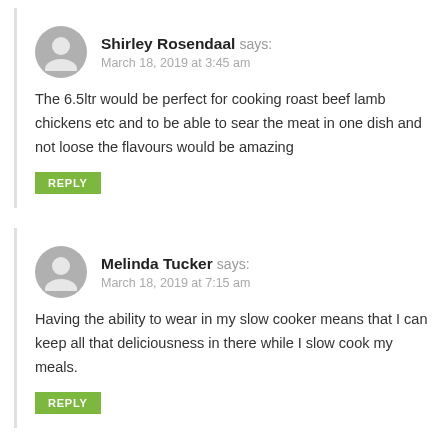Shirley Rosendaal says:
March 18, 2019 at 3:45 am
The 6.5ltr would be perfect for cooking roast beef lamb chickens etc and to be able to sear the meat in one dish and not loose the flavours would be amazing
REPLY
Melinda Tucker says:
March 18, 2019 at 7:15 am
Having the ability to wear in my slow cooker means that I can keep all that deliciousness in there while I slow cook my meals.
REPLY